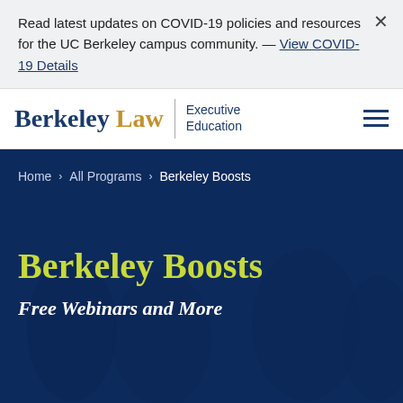Read latest updates on COVID-19 policies and resources for the UC Berkeley campus community. — View COVID-19 Details
[Figure (logo): Berkeley Law Executive Education logo with hamburger menu icon]
Home > All Programs > Berkeley Boosts
Berkeley Boosts
Free Webinars and More